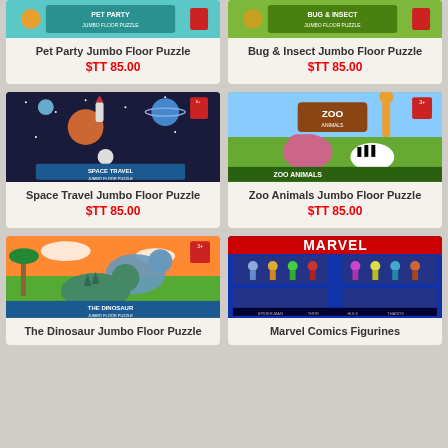[Figure (photo): Pet Party Jumbo Floor Puzzle product image]
Pet Party Jumbo Floor Puzzle
$TT 85.00
[Figure (photo): Bug & Insect Jumbo Floor Puzzle product image]
Bug & Insect Jumbo Floor Puzzle
$TT 85.00
[Figure (photo): Space Travel Jumbo Floor Puzzle product image - space themed with astronaut, planets, rockets]
Space Travel Jumbo Floor Puzzle
$TT 85.00
[Figure (photo): Zoo Animals Jumbo Floor Puzzle product image - zoo animals including giraffe, zebra, hippo]
Zoo Animals Jumbo Floor Puzzle
$TT 85.00
[Figure (photo): The Dinosaur Jumbo Floor Puzzle product image - dinosaurs in prehistoric scene]
The Dinosaur Jumbo Floor Puzzle
[Figure (photo): Marvel Comics Figurines product image - Marvel superhero figurines in packaging]
Marvel Comics Figurines